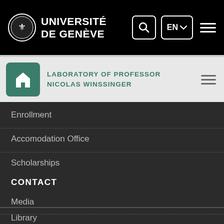[Figure (screenshot): Université de Genève website header with university logo, search button, language selector (EN), and hamburger menu on black background]
LABORATOIRE OF PROFESSOR NICOLAS WINSSINGER
Enrollment
Accomodation Office
Scholarships
CONTACT
Media
Library
University Structures